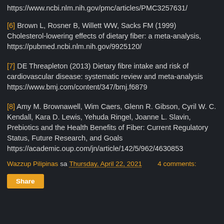https://www.ncbi.nlm.nih.gov/pmc/articles/PMC3257631/
[6] Brown L, Rosner B, Willett WW, Sacks FM (1999) Cholesterol-lowering effects of dietary fiber: a meta-analysis, https://pubmed.ncbi.nlm.nih.gov/9925120/
[7] DE Threapleton (2013) Dietary fibre intake and risk of cardiovascular disease: systematic review and meta-analysis https://www.bmj.com/content/347/bmj.f6879
[8] Amy M. Brownawell, Wim Caers, Glenn R. Gibson, Cyril W. C. Kendall, Kara D. Lewis, Yehuda Ringel, Joanne L. Slavin, Prebiotics and the Health Benefits of Fiber: Current Regulatory Status, Future Research, and Goals https://academic.oup.com/jn/article/142/5/962/4630853
Wazzup Pilipinas sa Thursday, April 22, 2021   4 comments: